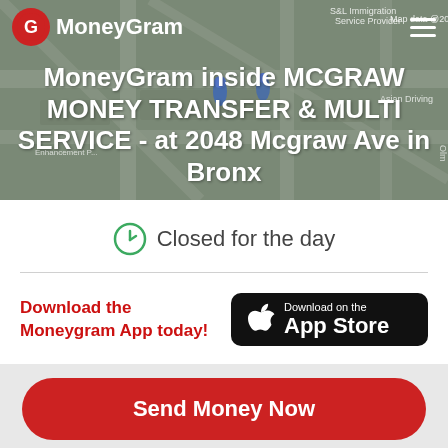[Figure (screenshot): MoneyGram mobile website screenshot showing a map background with navigation bar containing the MoneyGram logo and hamburger menu]
MoneyGram inside MCGRAW MONEY TRANSFER & MULTI SERVICE - at 2048 Mcgraw Ave in Bronx
Closed for the day
Download the Moneygram App today!
[Figure (logo): Download on the App Store button]
Send Money Now
Receive Mo...